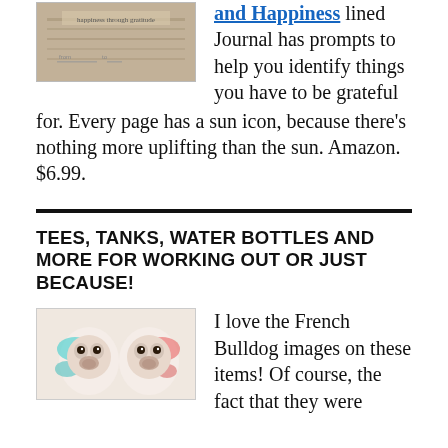[Figure (photo): Book cover of a gratitude journal with sandy/beach texture, text visible reading 'happiness through gratitude']
and Happiness lined Journal has prompts to help you identify things you have to be grateful for. Every page has a sun icon, because there's nothing more uplifting than the sun. Amazon. $6.99.
TEES, TANKS, WATER BOTTLES AND MORE FOR WORKING OUT OR JUST BECAUSE!
[Figure (photo): Two French Bulldogs side by side with colorful watercolor-style paint splashes in teal and red/pink]
I love the French Bulldog images on these items! Of course, the fact that they were